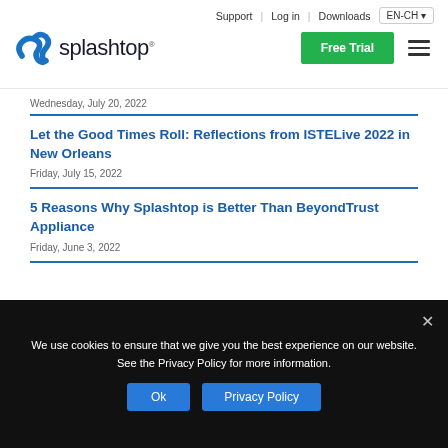Support | Log in | Downloads | EN-CH | Splashtop logo | Free Trial
Wednesday, July 20, 2022
Let the Good Times Roll: Reflections from ISTELive 2022 in New Orleans
Friday, July 15, 2022
5 Reasons Why Splashtop is Better Than BeyondTrust Appliance
Friday, June 3, 2022
We use cookies to ensure that we give you the best experience on our website. See the Privacy Policy for more information.